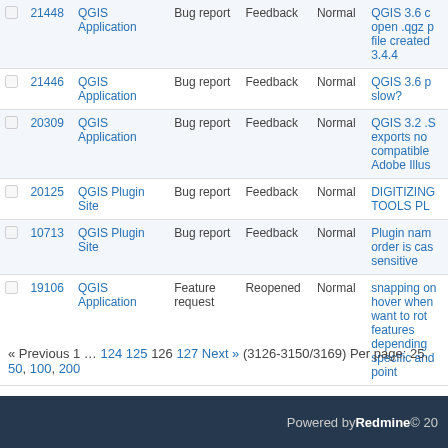|  | # | Project | Tracker | Status | Priority | Subject |
| --- | --- | --- | --- | --- | --- | --- |
|  | 21448 | QGIS Application | Bug report | Feedback | Normal | QGIS 3.6 c open .qgz p file created 3.4.4 |
|  | 21446 | QGIS Application | Bug report | Feedback | Normal | QGIS 3.6 p slow? |
|  | 20309 | QGIS Application | Bug report | Feedback | Normal | QGIS 3.2 .S exports no compatible Adobe Illus |
|  | 20125 | QGIS Plugin Site | Bug report | Feedback | Normal | DIGITIZING TOOLS PL |
|  | 10713 | QGIS Plugin Site | Bug report | Feedback | Normal | Plugin nam order is cas sensitive |
|  | 19106 | QGIS Application | Feature request | Reopened | Normal | snapping on hover when want to rot features depending specific and point |
« Previous 1 … 124 125 126 127 Next » (3126-3150/3169) Per page: 25, 50, 100, 200
Powered by Redmine © 20